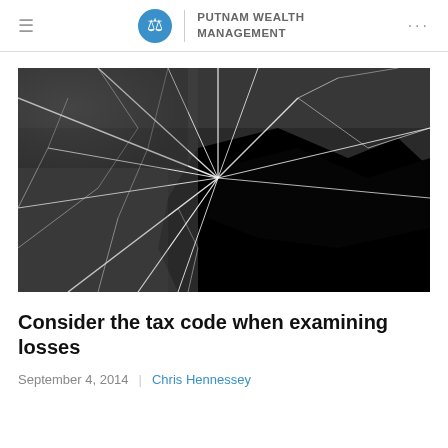PUTNAM WEALTH MANAGEMENT
[Figure (photo): Black and white close-up photograph of shattered glass with cracks radiating outward from a central impact point, revealing a dark hole in the center.]
Consider the tax code when examining losses
September 4, 2014  |  Chris Hennessey